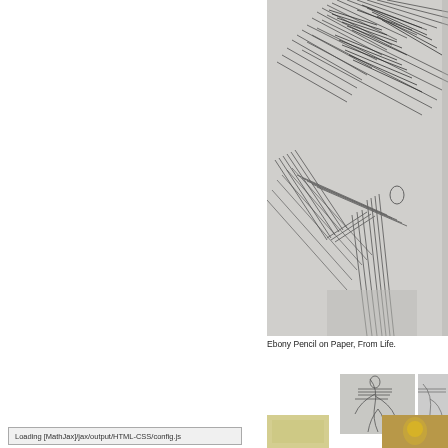[Figure (illustration): Close-up photograph of an ebony pencil sketch on paper from life, showing gestural lines depicting what appears to be a figure or limbs with heavy hatching in the upper portion and lighter structural lines below.]
Ebony Pencil on Paper, From Life.
[Figure (illustration): Small thumbnail of a pencil sketch showing a figure.]
[Figure (illustration): Small partial thumbnail of a sketch.]
[Figure (photo): Small thumbnail showing a yellowish/warm-toned image.]
[Figure (photo): Small thumbnail showing a golden/amber colored object.]
Loading [MathJax]/jax/output/HTML-CSS/config.js